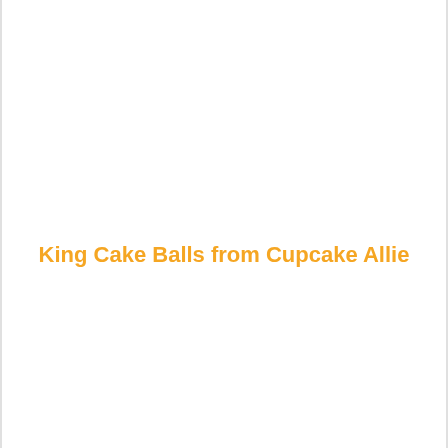King Cake Balls from Cupcake Allie